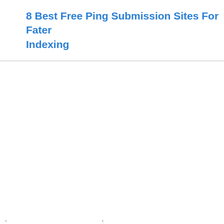8 Best Free Ping Submission Sites For Fater Indexing